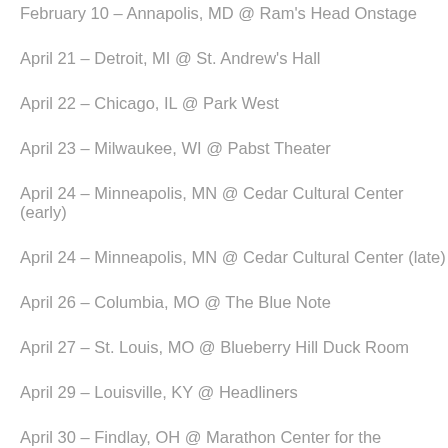February 10 – Annapolis, MD @ Ram's Head Onstage
April 21 – Detroit, MI @ St. Andrew's Hall
April 22 – Chicago, IL @ Park West
April 23 – Milwaukee, WI @ Pabst Theater
April 24 – Minneapolis, MN @ Cedar Cultural Center (early)
April 24 – Minneapolis, MN @ Cedar Cultural Center (late)
April 26 – Columbia, MO @ The Blue Note
April 27 – St. Louis, MO @ Blueberry Hill Duck Room
April 29 – Louisville, KY @ Headliners
April 30 – Findlay, OH @ Marathon Center for the Performing Arts
May 1 – Newport, KY @ The Southgate House Revival
May 2 – Pittsburgh, PA @ The Warhol at Carnegie Lecture Hall